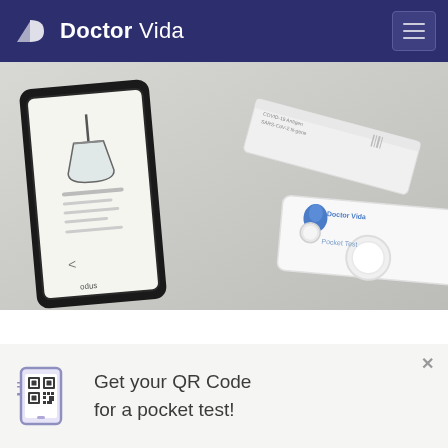Doctor Vida
[Figure (photo): A smartphone and a Doctor Vida Pocket Test COVID-19 rapid antigen test device placed on a white surface. The phone shows an app interface with a flask icon. The white test device shows the Doctor Vida branding and a circular sensor window.]
Get your QR Code for a pocket test!